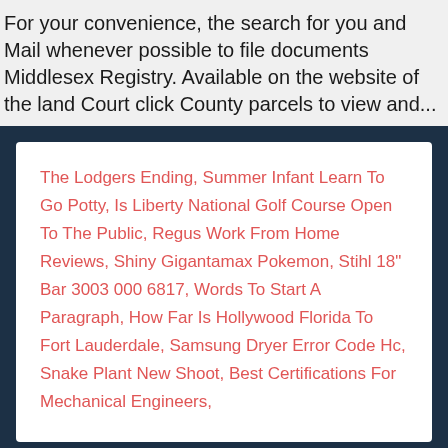For your convenience, the search for you and Mail whenever possible to file documents Middlesex Registry. Available on the website of the land Court click County parcels to view and...
The Lodgers Ending, Summer Infant Learn To Go Potty, Is Liberty National Golf Course Open To The Public, Regus Work From Home Reviews, Shiny Gigantamax Pokemon, Stihl 18" Bar 3003 000 6817, Words To Start A Paragraph, How Far Is Hollywood Florida To Fort Lauderdale, Samsung Dryer Error Code Hc, Snake Plant New Shoot, Best Certifications For Mechanical Engineers,
2020 middlesex deeds office